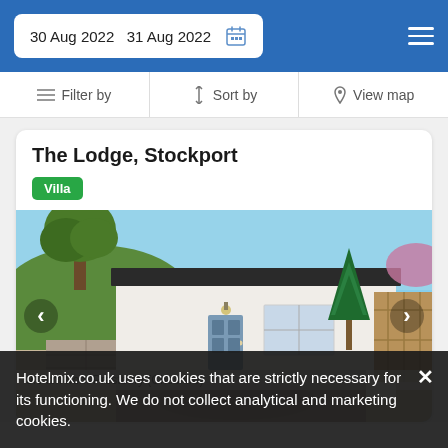30 Aug 2022   31 Aug 2022
Filter by   Sort by   View map
The Lodge, Stockport
Villa
[Figure (photo): Exterior photo of The Lodge, Stockport – a low-profile white bungalow with a dark flat roof, blue front door, large windows, a tall conifer tree on the right, and a stone retaining wall in the foreground under a bright blue sky.]
Hotelmix.co.uk uses cookies that are strictly necessary for its functioning. We do not collect analytical and marketing cookies.
9.6 km from Prestbury (Cheshire)